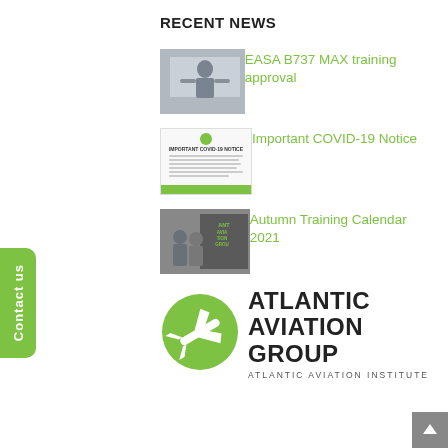RECENT NEWS
[Figure (photo): Instructor standing in front of a whiteboard in a training room]
EASA B737 MAX training approval
[Figure (screenshot): Important COVID-19 Notice document screenshot]
Important COVID-19 Notice
[Figure (photo): Two people standing in front of Atlantic Aviation Group banner]
Autumn Training Calendar 2021
[Figure (logo): Atlantic Aviation Group logo with green circle containing airplane silhouette and bold text ATLANTIC AVIATION GROUP with subtitle ATLANTIC AVIATION INSTITUTE]